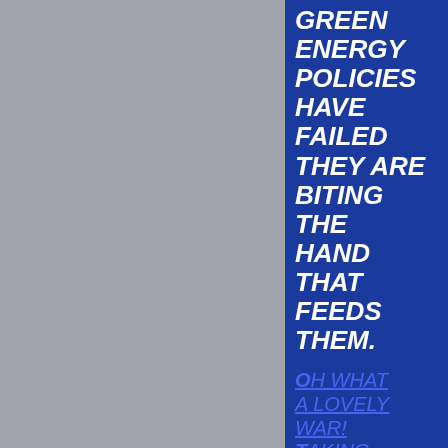[Figure (illustration): Light grey textured background occupying the left portion of the page]
GREEN ENERGY POLICIES HAVE FAILED THEY ARE BITING THE HAND THAT FEEDS THEM.
Oh what a lovely war! Taking Sides In